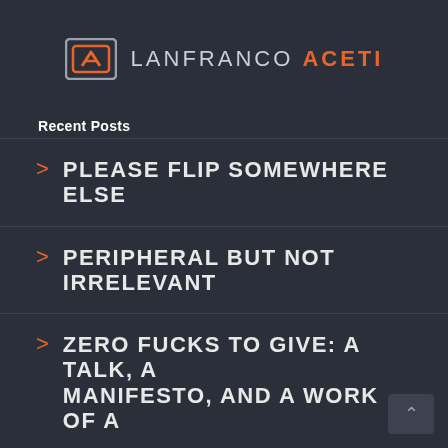[Figure (logo): Lanfranco Aceti logo with stylized 'A' icon in orange and dark border, followed by text LANFRANCO ACETI]
Recent Posts
> PLEASE FLIP SOMEWHERE ELSE
> PERIPHERAL BUT NOT IRRELEVANT
> ZERO FUCKS TO GIVE: A TALK, A MANIFESTO, AND A WORK OF A